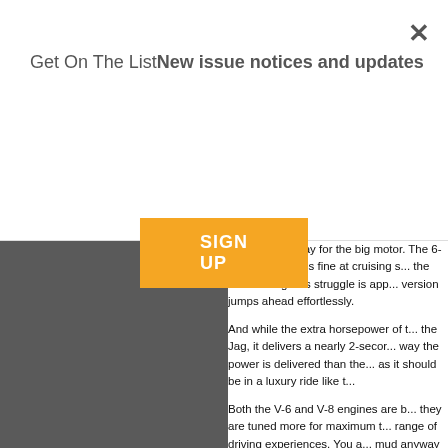Get On The ListNew issue notices and updates
[Figure (other): Orange SIGN UP button on modal overlay]
[Figure (photo): Gray image placeholder on left side of content area]
penalty you'll pay for the big motor. The 6-cylinder car feels fine at cruising speed, but the weaker engine's struggle is apparent; our version jumps ahead effortlessly.
And while the extra horsepower of the Jag, it delivers a nearly 2-second advantage. The way the power is delivered than the other, smooth as it should be in a luxury ride like t...
Both the V-6 and V-8 engines are better since they are tuned more for maximum traction across a range of driving experiences. You are not driving mud anyway—what you want is smooth over slimy spots with ease. Yet, where the road you still feel the engine. By comparison, it seems oh so much more in keeping...